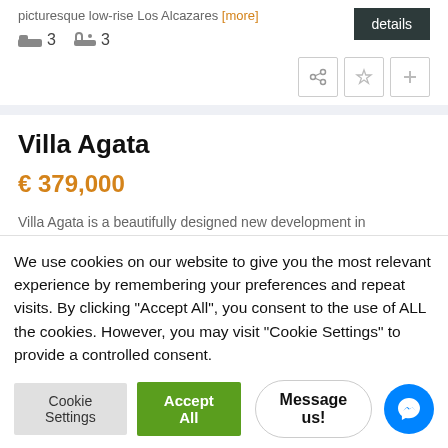picturesque low-rise Los Alcazares [more]
3  3  details
Villa Agata
€ 379,000
Villa Agata is a beautifully designed new development in picturesque low-rise Los Alcazare [more]
We use cookies on our website to give you the most relevant experience by remembering your preferences and repeat visits. By clicking "Accept All", you consent to the use of ALL the cookies. However, you may visit "Cookie Settings" to provide a controlled consent.
Cookie Settings  Accept All  Message us!